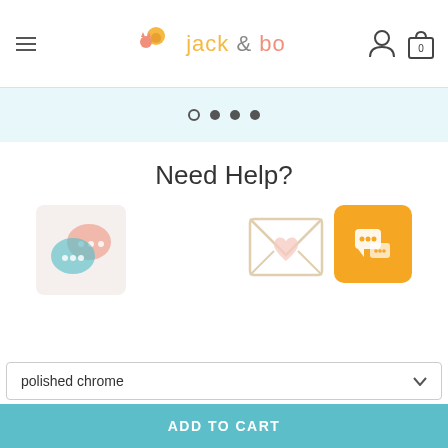[Figure (logo): Jack & Bo logo with teal crescent moon and animals (dog and cat), brand name 'jack & bo' in yellow, teal and coral colors, hamburger menu icon on left, person icon and shopping bag with 0 on right]
[Figure (other): Carousel navigation dots: one open circle followed by three filled circles on a light blue background]
Need Help?
[Figure (illustration): Two overlapping chat speech bubble icons (pink and teal) on a pale background box on the left; a heart envelope/mail icon in the center-right area; and an orange square button with a chat/support icon on the far right]
polished chrome
ADD TO CART